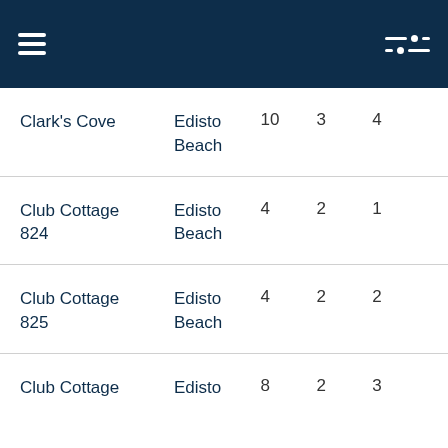Navigation menu and filter controls
| Name | Location | Col3 | Col4 | Col5 |
| --- | --- | --- | --- | --- |
| Clark's Cove | Edisto Beach | 10 | 3 | 4 |
| Club Cottage 824 | Edisto Beach | 4 | 2 | 1 |
| Club Cottage 825 | Edisto Beach | 4 | 2 | 2 |
| Club Cottage | Edisto | 8 | 2 | 3 |